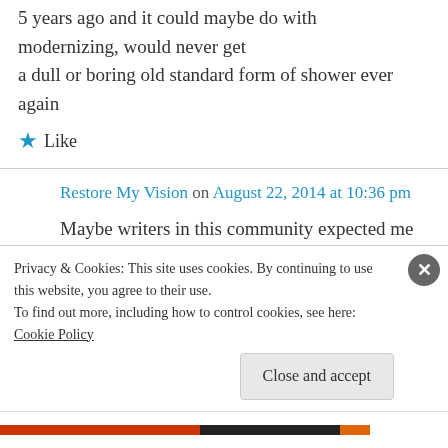5 years ago and it could maybe do with modernizing, would never get a dull or boring old standard form of shower ever again
★ Like
Restore My Vision on August 22, 2014 at 10:36 pm
Maybe writers in this community expected me to pay my dues before they would invest time in my work.
Privacy & Cookies: This site uses cookies. By continuing to use this website, you agree to their use.
To find out more, including how to control cookies, see here: Cookie Policy
Close and accept